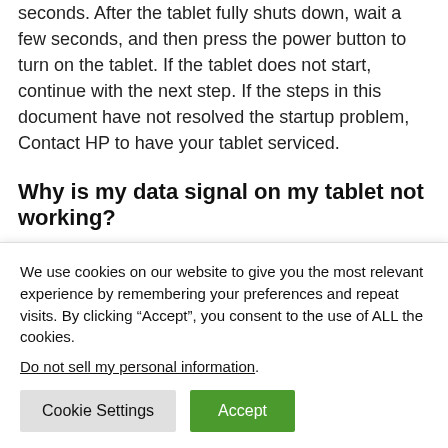seconds. After the tablet fully shuts down, wait a few seconds, and then press the power button to turn on the tablet. If the tablet does not start, continue with the next step. If the steps in this document have not resolved the startup problem, Contact HP to have your tablet serviced.
Why is my data signal on my tablet not working?
Check the mobile data connection for your current data...
We use cookies on our website to give you the most relevant experience by remembering your preferences and repeat visits. By clicking “Accept”, you consent to the use of ALL the cookies.
Do not sell my personal information.